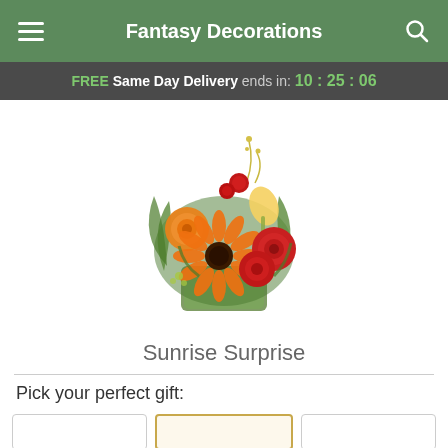Fantasy Decorations
FREE Same Day Delivery ends in: 10:25:06
[Figure (photo): A floral arrangement called Sunrise Surprise featuring orange gerbera daisies, orange roses, red carnations, red spray roses, yellow calla lilies, and green foliage in a square green vase.]
Sunrise Surprise
Pick your perfect gift: